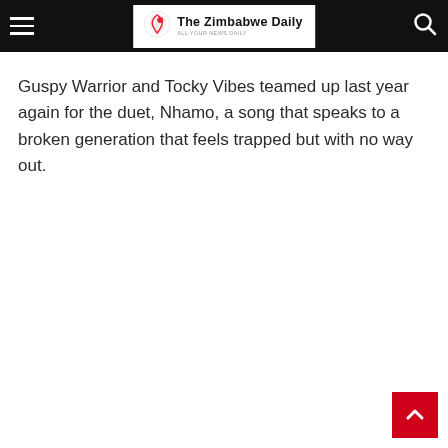The Zimbabwe Daily
Guspy Warrior and Tocky Vibes teamed up last year again for the duet, Nhamo, a song that speaks to a broken generation that feels trapped but with no way out.